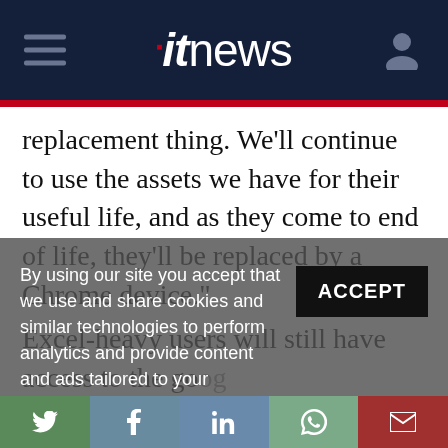itnews
replacement thing. We'll continue to use the assets we have for their useful life, and as they come to end of life, they'll be replaced by a Chrome device."
Excel-heavy users will still have access to the go... is the company's workforce will be satisfied going Apps
By using our site you accept that we use and share cookies and similar technologies to perform analytics and provide content and ads tailored to your interests. By continuing to use our site, you consent to this. Please see our Cookie Policy for more information.